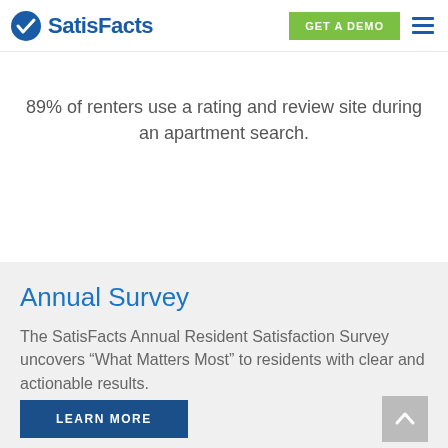SatisFacts — GET A DEMO navigation header
89% of renters use a rating and review site during an apartment search.
Annual Survey
The SatisFacts Annual Resident Satisfaction Survey uncovers “What Matters Most” to residents with clear and actionable results.
LEARN MORE